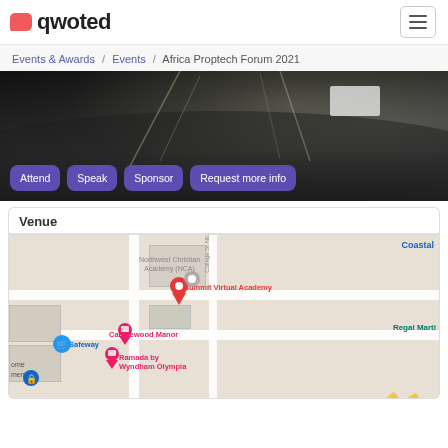qwoted
Events & Awards / Events / Africa Proptech Forum 2021
[Figure (photo): Black and white photo of a large concert/event venue with crowd and stage lights. Overlaid purple buttons: Attend, Speak, Sponsor, Request more info]
Venue
[Figure (map): Google Maps screenshot showing location near Northwest Christian Academy (NCA), Summit Virtual Academy, Candlewood Manor, Ramada by Wyndham Olympia, Safeway, Regal Marti, Coastal labels with map pins]